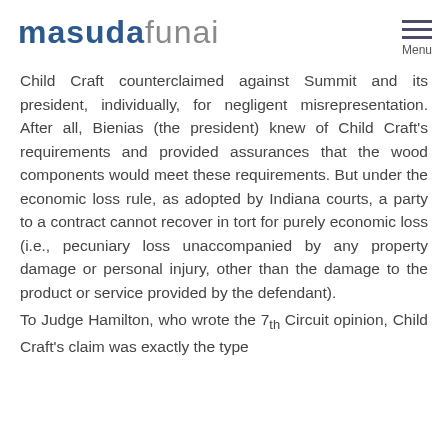masudafunai
Child Craft counterclaimed against Summit and its president, individually, for negligent misrepresentation. After all, Bienias (the president) knew of Child Craft's requirements and provided assurances that the wood components would meet these requirements. But under the economic loss rule, as adopted by Indiana courts, a party to a contract cannot recover in tort for purely economic loss (i.e., pecuniary loss unaccompanied by any property damage or personal injury, other than the damage to the product or service provided by the defendant).
To Judge Hamilton, who wrote the 7th Circuit opinion, Child Craft's claim was exactly the type